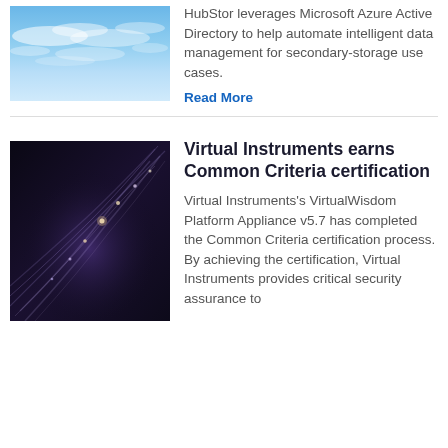[Figure (photo): Sky with wispy clouds and blue sky background]
HubStor leverages Microsoft Azure Active Directory to help automate intelligent data management for secondary-storage use cases.
Read More
Virtual Instruments earns Common Criteria certification
[Figure (photo): Dark abstract image with glowing light trails/fiber optic lines streaming across a dark background]
Virtual Instruments's VirtualWisdom Platform Appliance v5.7 has completed the Common Criteria certification process. By achieving the certification, Virtual Instruments provides critical security assurance to